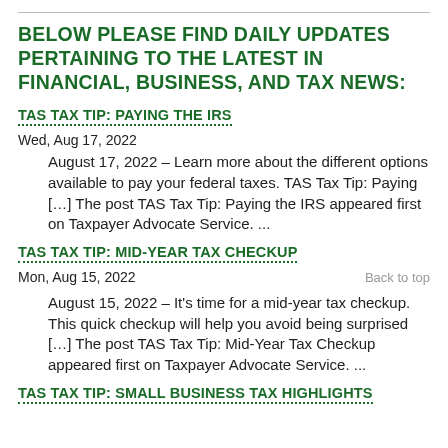BELOW PLEASE FIND DAILY UPDATES PERTAINING TO THE LATEST IN FINANCIAL, BUSINESS, AND TAX NEWS:
TAS TAX TIP: PAYING THE IRS
Wed, Aug 17, 2022
August 17, 2022 – Learn more about the different options available to pay your federal taxes. TAS Tax Tip: Paying […] The post TAS Tax Tip: Paying the IRS appeared first on Taxpayer Advocate Service. ...
TAS TAX TIP: MID-YEAR TAX CHECKUP
Mon, Aug 15, 2022
August 15, 2022 – It's time for a mid-year tax checkup. This quick checkup will help you avoid being surprised […] The post TAS Tax Tip: Mid-Year Tax Checkup appeared first on Taxpayer Advocate Service. ...
TAS TAX TIP: SMALL BUSINESS TAX HIGHLIGHTS